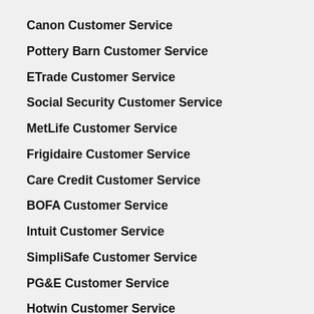Canon Customer Service
Pottery Barn Customer Service
ETrade Customer Service
Social Security Customer Service
MetLife Customer Service
Frigidaire Customer Service
Care Credit Customer Service
BOFA Customer Service
Intuit Customer Service
SimpliSafe Customer Service
PG&E Customer Service
Hotwin Customer Service